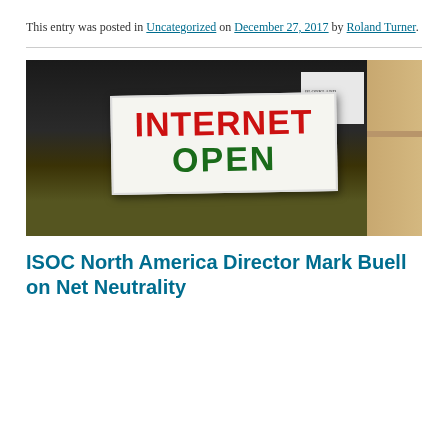This entry was posted in Uncategorized on December 27, 2017 by Roland Turner.
[Figure (photo): Photo of a white sign reading 'INTERNET OPEN' in large red and green letters, propped against a stone wall in a dark interior setting.]
ISOC North America Director Mark Buell on Net Neutrality